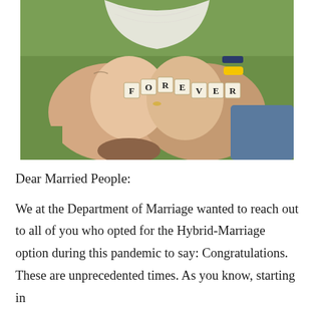[Figure (photo): Photograph of two people's hands cupped together holding Scrabble tiles spelling 'FOREVER', outdoors on green grass background. One person wears a white lace top, the other wears a yellow wristband and has denim jeans visible.]
Dear Married People:
We at the Department of Marriage wanted to reach out to all of you who opted for the Hybrid-Marriage option during this pandemic to say: Congratulations. These are unprecedented times. As you know, starting in